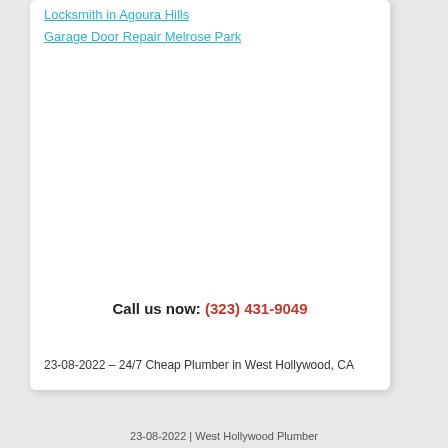Locksmith in Agoura Hills
Garage Door Repair Melrose Park
Call us now: (323) 431-9049
23-08-2022 – 24/7 Cheap Plumber in West Hollywood, CA
23-08-2022 | West Hollywood Plumber